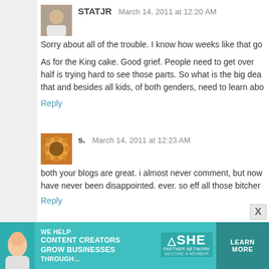STATJR   March 14, 2011 at 12:20 AM
Sorry about all of the trouble. I know how weeks like that go
As for the King cake. Good grief. People need to get over half is trying hard to see those parts. So what is the big dea that and besides all kids, of both genders, need to learn abo
Reply
s.   March 14, 2011 at 12:23 AM
both your blogs are great. i almost never comment, but now have never been disappointed. ever. so eff all those bitcher
Reply
Anonymous   March 14, 2011 at 12:27 AM
The King Cake posts were definitely hilarious and some pe how many people take the "anonymity" of the internet as a
You guys rock! Epbot and CW are two of my all time favo haters get you down. It's sad they have nothing bet humor into folks lives.
[Figure (infographic): SHE Media Partner Network advertisement banner: We Help Content Creators Grow Businesses Through... with Learn More button]